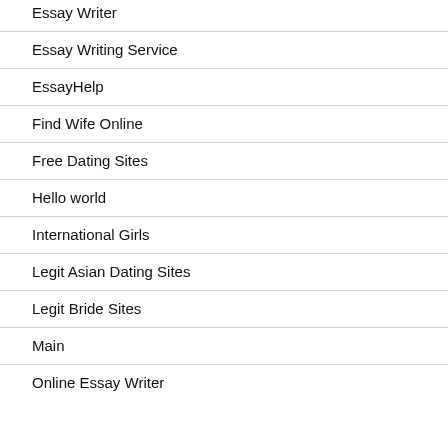Essay Writer
Essay Writing Service
EssayHelp
Find Wife Online
Free Dating Sites
Hello world
International Girls
Legit Asian Dating Sites
Legit Bride Sites
Main
Online Essay Writer